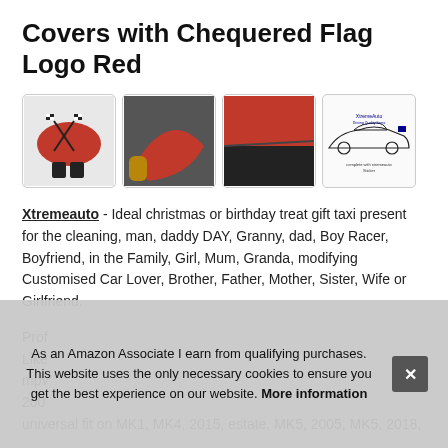Covers with Chequered Flag Logo Red
[Figure (photo): Four product images: 1) Red car cover with chequered flag logo and car seat covers shown; 2) Hand holding red car cover; 3) Close-up of red/black car cover material; 4) Line drawing of sports car with 'Xtremeauto Driving Quality Items' text and 'complete with xtremeauto Sticker' label]
Xtremeauto - Ideal christmas or birthday treat gift taxi present for the cleaning, man, daddy DAY, Granny, dad, Boy Racer, Boyfriend, in the Family, Girl, Mum, Granda, modifying Customised Car Lover, Brother, Father, Mother, Sister, Wife or Girlfriend.
Prof... Like... mpv... 200... universal fit on MK1, MK4, 2015, estate, MK5, 2005, MK5, 2018,
As an Amazon Associate I earn from qualifying purchases. This website uses the only necessary cookies to ensure you get the best experience on our website. More information